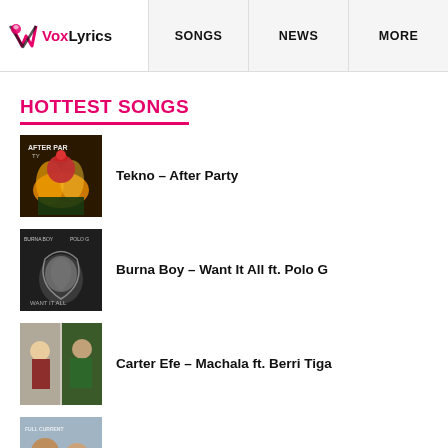VoxLyrics | SONGS | NEWS | MORE
HOTTEST SONGS
Tekno – After Party
Burna Boy – Want It All ft. Polo G
Carter Efe – Machala ft. Berri Tiga
Phyno – Full Current Ft. Tekno (That's My Baby)